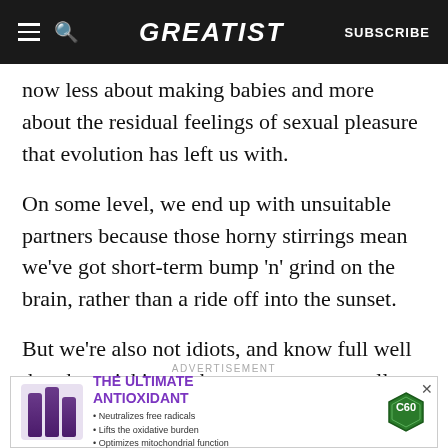GREATIST | SUBSCRIBE
now less about making babies and more about the residual feelings of sexual pleasure that evolution has left us with.
On some level, we end up with unsuitable partners because those horny stirrings mean we've got short-term bump 'n' grind on the brain, rather than a ride off into the sunset.
But we're also not idiots, and know full well that the quickie at a house party may well not become our eternally betrothed. We also know not to take a
ADVERTISEMENT
[Figure (other): Advertisement banner for C60 antioxidant product showing purple bottles, headline 'THE ULTIMATE ANTIOXIDANT', bullet points: Neutralizes free radicals, Lifts the oxidative burden, Optimizes mitochondrial function, and C60 hexagonal badge logo.]